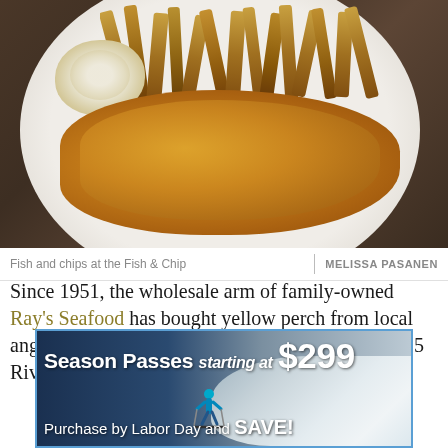[Figure (photo): Photo of fish and chips on a white plate with coleslaw and thick-cut fries]
Fish and chips at the Fish & Chip | MELISSA PASANEN
Since 1951, the wholesale arm of family-owned Ray's Seafood has bought yellow perch from local anglers. At Ray's Seafood Market & Restaurant at 5 Riverside...
[Figure (infographic): Advertisement: Season Passes starting at $299. Purchase by Labor Day and SAVE! Shows skier on snowy slope.]